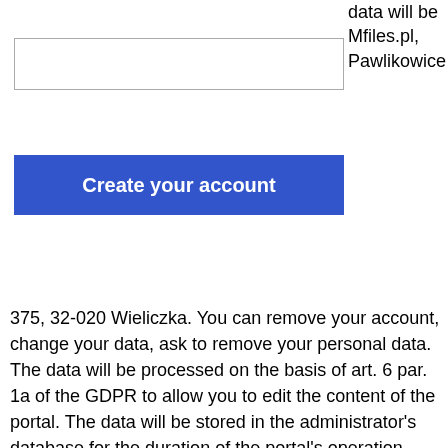[Figure (other): Text input field (form element)]
[Figure (other): Blue button labeled 'Create your account']
data will be Mfiles.pl, Pawlikowice
375, 32-020 Wieliczka. You can remove your account, change your data, ask to remove your personal data. The data will be processed on the basis of art. 6 par. 1a of the GDPR to allow you to edit the content of the portal. The data will be stored in the administrator's database for the duration of the portal's operation, unless you delete your account beforehand, which will delete the data from the database. You will have the right to request the administrator to access your personal data and to rectify, delete or limit the processing or the right to object to the processing, as well as the right to transfer data - on the terms set out in art. 16 - 21 GDPR. You can delete your account at any time. If you decide that your data is being processed contrary to the law, you will be able to file a complaint with the supervisory authority. Providing data is voluntary, but necessary in order to